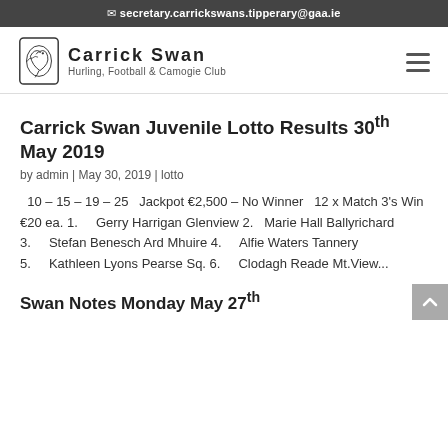secretary.carrickswans.tipperary@gaa.ie
[Figure (logo): Carrick Swan Hurling, Football & Camogie Club logo with swan emblem]
Carrick Swan Juvenile Lotto Results 30th May 2019
by admin | May 30, 2019 | lotto
10 – 15 – 19 – 25   Jackpot €2,500 – No Winner   12 x Match 3's Win €20 ea. 1.      Gerry Harrigan Glenview 2.   Marie Hall Ballyrichard 3.      Stefan Benesch Ard Mhuire 4.      Alfie Waters Tannery 5.      Kathleen Lyons Pearse Sq. 6.      Clodagh Reade Mt.View...
Swan Notes Monday May 27th